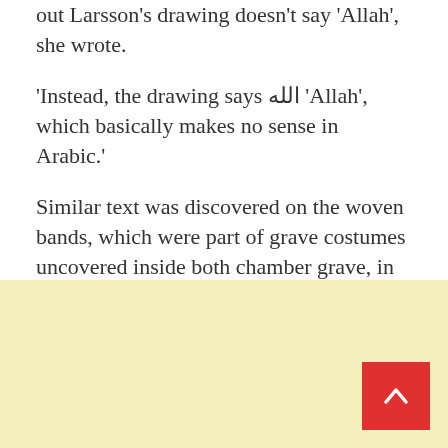out Larsson's drawing doesn't say 'Allah', she wrote.
'Instead, the drawing says الله 'Allah', which basically makes no sense in Arabic.'
Similar text was discovered on the woven bands, which were part of grave costumes uncovered inside both chamber grave, in sites such as Birka in Mälardalen, and in boat grave in the Gamla Uppsala area.
[Figure (other): Light yellow background section with a red 'back to top' button containing an upward chevron arrow in the bottom right corner.]